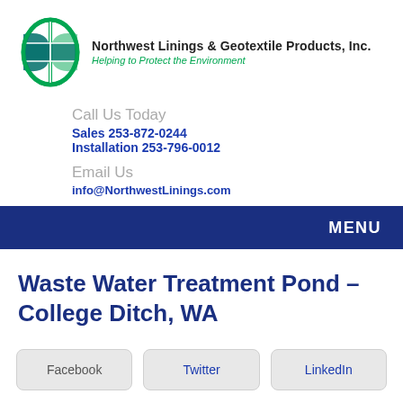[Figure (logo): Northwest Linings & Geotextile Products, Inc. logo with green circle and grid/globe design]
Northwest Linings & Geotextile Products, Inc.
Helping to Protect the Environment
Call Us Today
Sales 253-872-0244
Installation 253-796-0012
Email Us
info@NorthwestLinings.com
MENU
Waste Water Treatment Pond – College Ditch, WA
Facebook   Twitter   LinkedIn